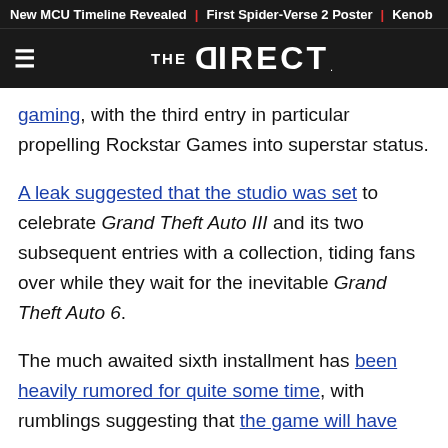New MCU Timeline Revealed | First Spider-Verse 2 Poster | Kenob
[Figure (logo): The Direct logo on dark header bar with hamburger menu icon]
gaming, with the third entry in particular propelling Rockstar Games into superstar status.
A leak suggested that the studio was set to celebrate Grand Theft Auto III and its two subsequent entries with a collection, tiding fans over while they wait for the inevitable Grand Theft Auto 6.
The much awaited sixth installment has been heavily rumored for quite some time, with rumblings suggesting that the game will have